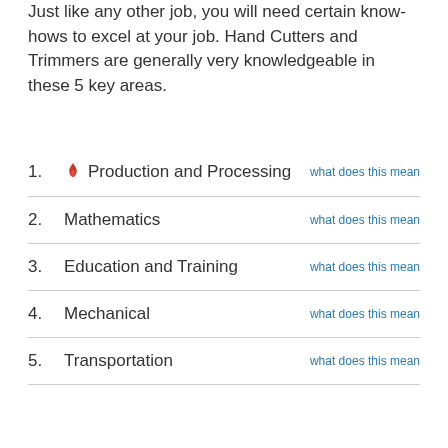Just like any other job, you will need certain know-hows to excel at your job. Hand Cutters and Trimmers are generally very knowledgeable in these 5 key areas.
1. Production and Processing   what does this mean
2. Mathematics   what does this mean
3. Education and Training   what does this mean
4. Mechanical   what does this mean
5. Transportation   what does this mean